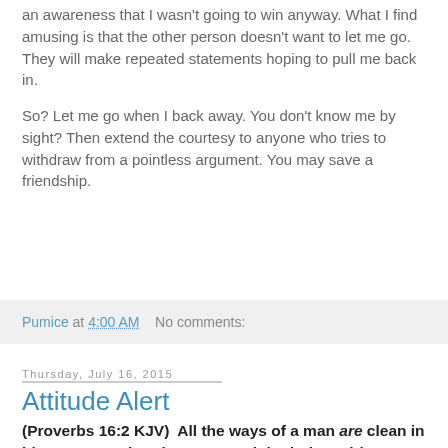an awareness that I wasn't going to win anyway. What I find amusing is that the other person doesn't want to let me go. They will make repeated statements hoping to pull me back in.
So? Let me go when I back away. You don't know me by sight? Then extend the courtesy to anyone who tries to withdraw from a pointless argument. You may save a friendship.
Pumice at 4:00 AM   No comments:
Thursday, July 16, 2015
Attitude Alert
(Proverbs 16:2 KJV)  All the ways of a man are clean in his own eyes; but the LORD weigheth the spirits.
It is obvious that how we live is important, or at least it should be obvious. All the really far right or wrong...